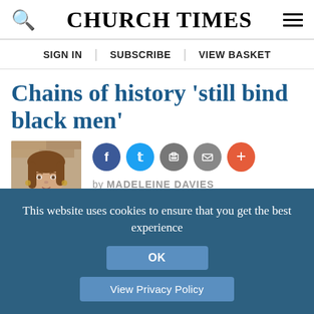CHURCH TIMES
SIGN IN | SUBSCRIBE | VIEW BASKET
Chains of history 'still bind black men'
[Figure (photo): Headshot photo of Madeleine Davies, a woman with brown hair wearing a blue top]
by MADELEINE DAVIES
29 JULY 2016
This website uses cookies to ensure that you get the best experience
OK
View Privacy Policy